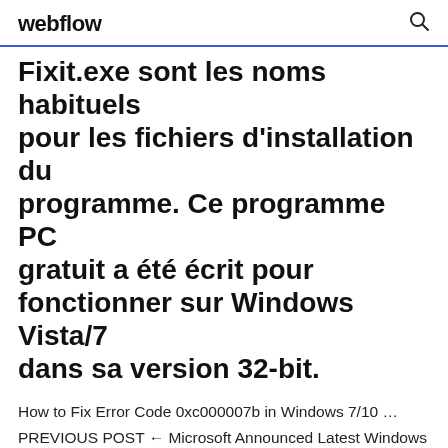webflow
Fixit.exe sont les noms habituels pour les fichiers d'installation du programme. Ce programme PC gratuit a été écrit pour fonctionner sur Windows Vista/7 dans sa version 32-bit.
How to Fix Error Code 0xc000007b in Windows 7/10 … PREVIOUS POST ← Microsoft Announced Latest Windows 10 Light Theme with Cool Features Released in May 2019 Windows 7 64-bit Battle for Middle-Earth fix - LotR: … Do you have a new computer that is a Windows 7 64-bit?Did you try to install Lord of the Rings: Battle for Middle-Earth 2?Did you